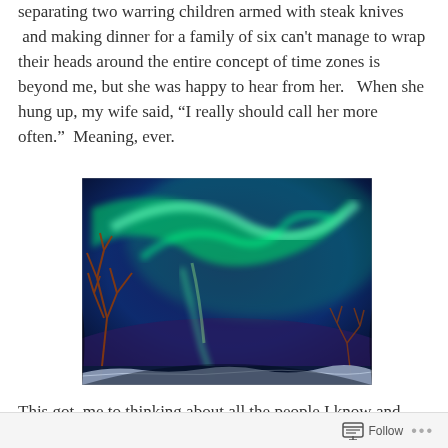separating two warring children armed with steak knives and making dinner for a family of six can't manage to wrap their heads around the entire concept of time zones is beyond me, but she was happy to hear from her.   When she hung up, my wife said, “I really should call her more often.”  Meaning, ever.
[Figure (photo): Photograph of the northern lights (aurora borealis) swirling in green over a dark night sky, with bare tree branches visible in the foreground and snowy landscape below.]
This got  me to thinking about all the people I know and care about that I just don't seem to hear from anymore
Follow ...